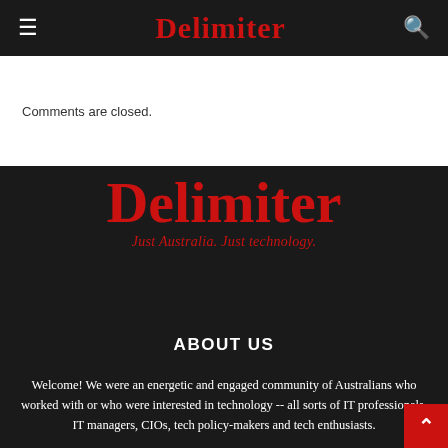Delimiter
Comments are closed.
[Figure (logo): Delimiter logo with tagline 'Just Australia. Just technology.' on dark background]
ABOUT US
Welcome! We were an energetic and engaged community of Australians who worked with or who were interested in technology -- all sorts of IT professionals, IT managers, CIOs, tech policy-makers and tech enthusiasts.